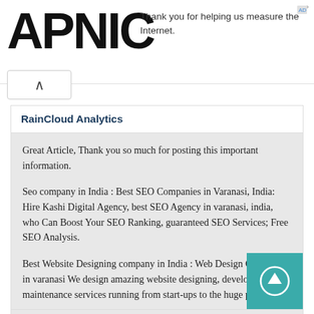APNIC — Thank you for helping us measure the Internet.
RainCloud Analytics
Great Article, Thank you so much for posting this important information.
Seo company in India : Best SEO Companies in Varanasi, India: Hire Kashi Digital Agency, best SEO Agency in varanasi, india, who Can Boost Your SEO Ranking, guaranteed SEO Services; Free SEO Analysis.
Best Website Designing company in India : Web Design Companies in varanasi We design amazing website designing, development and maintenance services running from start-ups to the huge players
Wordpress Development Company India : Wordpress